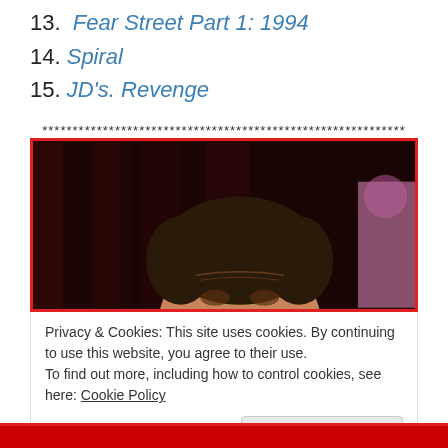13. Fear Street Part 1: 1994
14. Spiral
15. JD's. Revenge
************************************************************
[Figure (photo): A man's face partially visible with dark curly hair against a dark red curtain background. A blurred pink figure is visible on the right side.]
Privacy & Cookies: This site uses cookies. By continuing to use this website, you agree to their use.
To find out more, including how to control cookies, see here: Cookie Policy
Close and accept